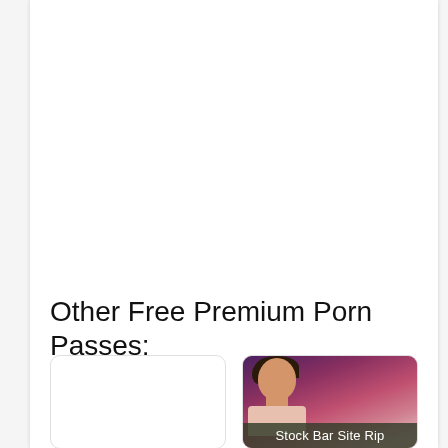Other Free Premium Porn Passes:
[Figure (photo): Empty white card placeholder on the left]
[Figure (photo): Photo card of a young man in a dimly lit bar setting with purple/red lighting, with overlay text reading 'Stock Bar Site Rip']